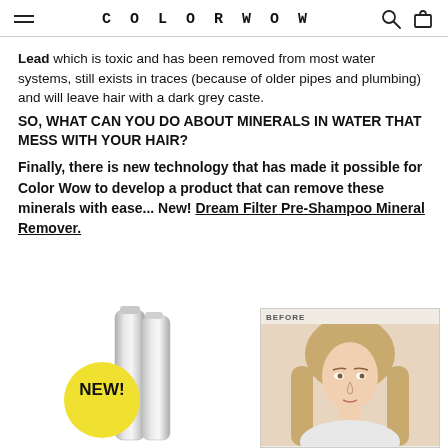COLORWOW
Lead which is toxic and has been removed from most water systems, still exists in traces (because of older pipes and plumbing) and will leave hair with a dark grey caste.
SO, WHAT CAN YOU DO ABOUT MINERALS IN WATER THAT MESS WITH YOUR HAIR?
Finally, there is new technology that has made it possible for Color Wow to develop a product that can remove these minerals with ease... New! Dream Filter Pre-Shampoo Mineral Remover.
[Figure (photo): Product image showing Dream Filter Pre-Shampoo Mineral Remover silver bottles with a yellow 'NEW!' badge circle, alongside a 'BEFORE' photo of a blonde woman with straight hair.]